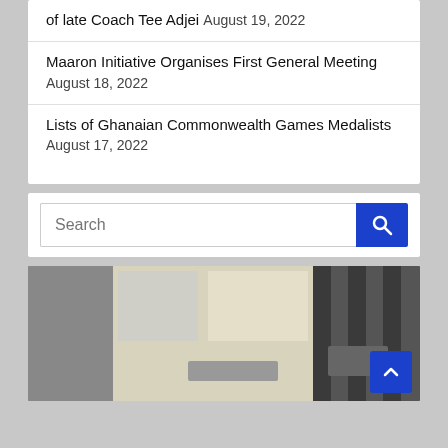of late Coach Tee Adjei August 19, 2022
Maaron Initiative Organises First General Meeting August 18, 2022
Lists of Ghanaian Commonwealth Games Medalists August 17, 2022
Search
[Figure (photo): Photo of a building or facility, showing exterior and interior areas with equipment visible]